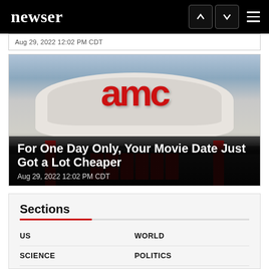newser
Aug 29, 2022  12:02 PM CDT
[Figure (photo): AMC movie theater exterior showing the red AMC logo on a curved white canopy above dark building entrance with red doors and pillars]
For One Day Only, Your Movie Date Just Got a Lot Cheaper
Aug 29, 2022  12:02 PM CDT
Sections
US
WORLD
SCIENCE
POLITICS
GREAT FINDS
HEALTH